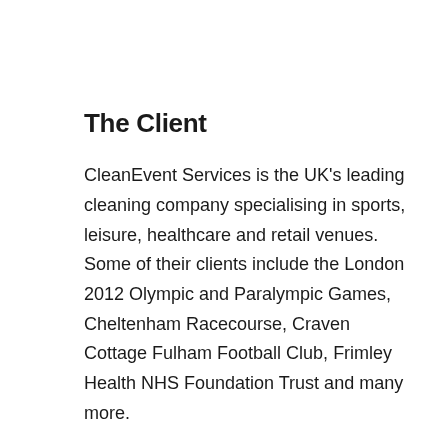The Client
CleanEvent Services is the UK's leading cleaning company specialising in sports, leisure, healthcare and retail venues. Some of their clients include the London 2012 Olympic and Paralympic Games, Cheltenham Racecourse, Craven Cottage Fulham Football Club, Frimley Health NHS Foundation Trust and many more.